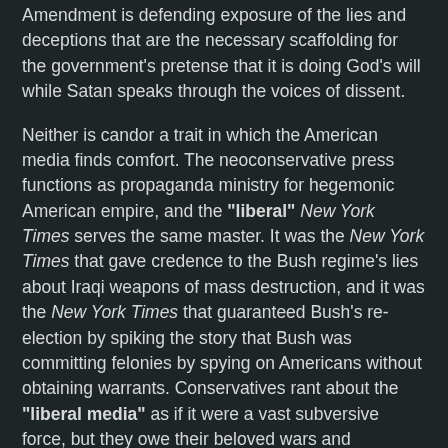Amendment is defending exposure of the lies and deceptions that are the necessary scaffolding for the government's pretense that it is doing God's will while Satan speaks through the voices of dissent.
Neither is candor a trait in which the American media finds comfort. The neoconservative press functions as propaganda ministry for hegemonic American empire, and the "liberal" New York Times serves the same master. It was the New York Times that gave credence to the Bush regime's lies about Iraqi weapons of mass destruction, and it was the New York Times that guaranteed Bush's re-election by spiking the story that Bush was committing felonies by spying on Americans without obtaining warrants. Conservatives rant about the "liberal media" as if it were a vast subversive force, but they owe their beloved wars and coverups of the Bush regimes' crimes to the New York Times.
With truth the declared enemy of the fantasy world in which the government, media, and public reside, the nation has turned on whistleblowers. Bradley Manning, who allegedly provided the media with the video made by US troops of